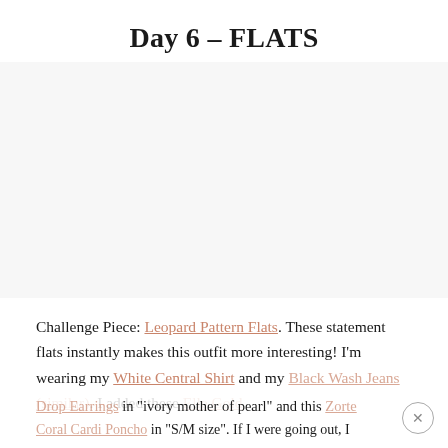Day 6 – FLATS
[Figure (photo): Fashion photo placeholder area showing an outfit with leopard pattern flats, white shirt, and black wash jeans (image not loaded/visible).]
Challenge Piece: Leopard Pattern Flats. These statement flats instantly makes this outfit more interesting! I'm wearing my White Central Shirt and my Black Wash Jeans (similar). I added these Elle Gold Drop Earrings in "ivory mother of pearl" and this Zorte Coral Cardi Poncho in "S/M size". If I were going out, I
Drop Earrings in "ivory mother of pearl" and this Zorte Coral Cardi Poncho in "S/M size". If I were going out, I